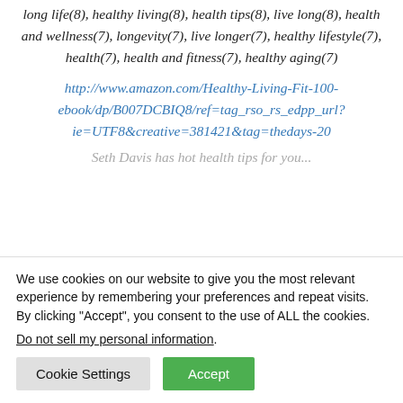long life(8), healthy living(8), health tips(8), live long(8), health and wellness(7), longevity(7), live longer(7), healthy lifestyle(7), health(7), health and fitness(7), healthy aging(7)
http://www.amazon.com/Healthy-Living-Fit-100-ebook/dp/B007DCBIQ8/ref=tag_rso_rs_edpp_url?ie=UTF8&creative=381421&tag=thedays-20
Seth Davis has hot health tips for you...
We use cookies on our website to give you the most relevant experience by remembering your preferences and repeat visits. By clicking "Accept", you consent to the use of ALL the cookies.
Do not sell my personal information.